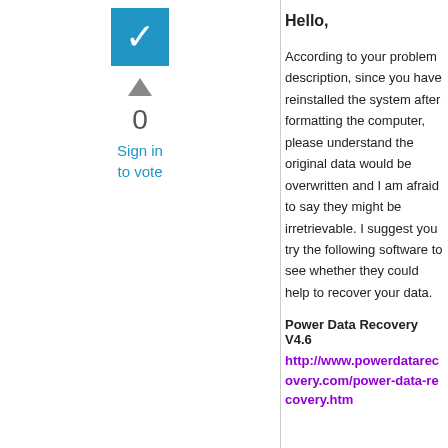[Figure (other): Blue checkbox icon with white checkmark]
▲
0
Sign in to vote
Hello,
According to your problem description, since you have reinstalled the system after formatting the computer, please understand the original data would be overwritten and I am afraid to say they might be irretrievable. I suggest you try the following software to see whether they could help to recover your data.
Power Data Recovery V4.6
http://www.powerdatarecovery.com/power-data-recovery.htm